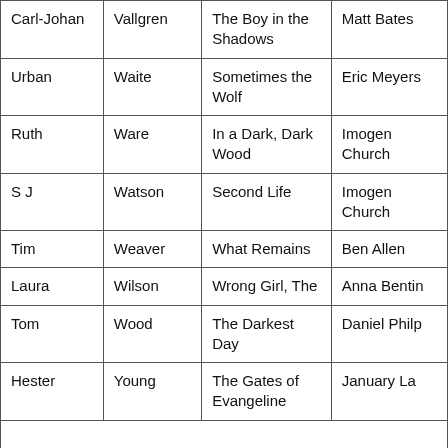| Carl-Johan | Vallgren | The Boy in the Shadows | Matt Bates |
| Urban | Waite | Sometimes the Wolf | Eric Meyers |
| Ruth | Ware | In a Dark, Dark Wood | Imogen Church |
| S J | Watson | Second Life | Imogen Church |
| Tim | Weaver | What Remains | Ben Allen |
| Laura | Wilson | Wrong Girl, The | Anna Bentinck |
| Tom | Wood | The Darkest Day | Daniel Philpott |
| Hester | Young | The Gates of Evangeline | January LaVoy |